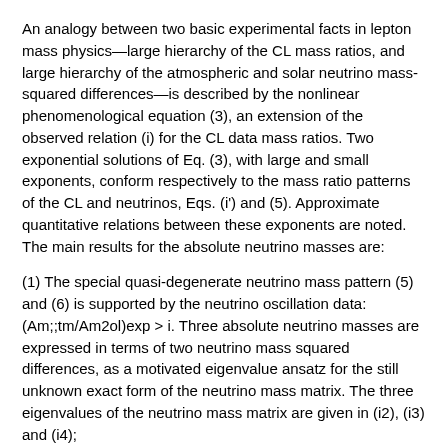An analogy between two basic experimental facts in lepton mass physics—large hierarchy of the CL mass ratios, and large hierarchy of the atmospheric and solar neutrino mass-squared differences—is described by the nonlinear phenomenological equation (3), an extension of the observed relation (i) for the CL data mass ratios. Two exponential solutions of Eq. (3), with large and small exponents, conform respectively to the mass ratio patterns of the CL and neutrinos, Eqs. (i') and (5). Approximate quantitative relations between these exponents are noted. The main results for the absolute neutrino masses are:
(1) The special quasi-degenerate neutrino mass pattern (5) and (6) is supported by the neutrino oscillation data: (Am;;tm/Am2ol)exp > i. Three absolute neutrino masses are expressed in terms of two neutrino mass squared differences, as a motivated eigenvalue ansatz for the still unknown exact form of the neutrino mass matrix. The three eigenvalues of the neutrino mass matrix are given in (i2), (i3) and (i4);
(2) The neutrino mass scale (i2): mv — Am^lm/